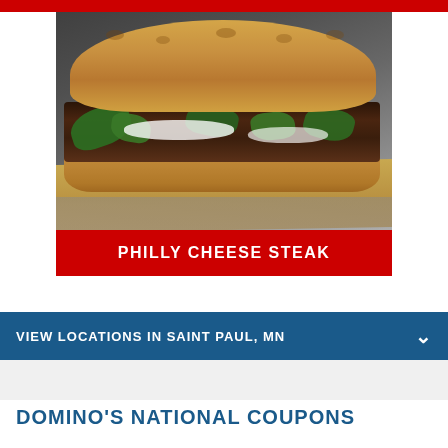[Figure (photo): Photo of a Philly Cheese Steak sandwich on a hoagie roll with steak, green peppers, onions, and cheese, resting on parchment paper on a metal surface]
PHILLY CHEESE STEAK
VIEW LOCATIONS IN SAINT PAUL, MN
DOMINO'S NATIONAL COUPONS